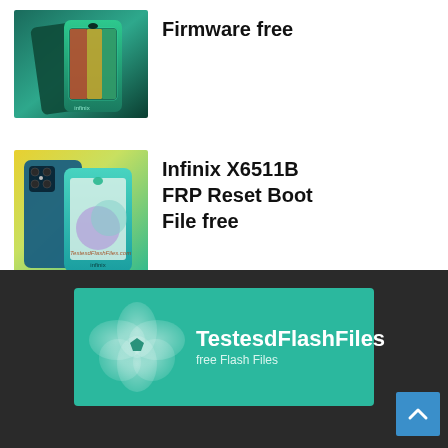[Figure (photo): Two teal/dark-blue smartphones shown front and back, greenish gradient background]
Firmware free
[Figure (photo): Two teal/yellow smartphones with camera array on yellow-green gradient background, watermark text TestesdFlashFiles.com]
Infinix X6511B FRP Reset Boot File free
[Figure (logo): TestesdFlashFiles logo: teal banner with flower/petal icon and text TestesdFlashFiles, free Flash Files]
TestesdFlashFiles free Flash Files